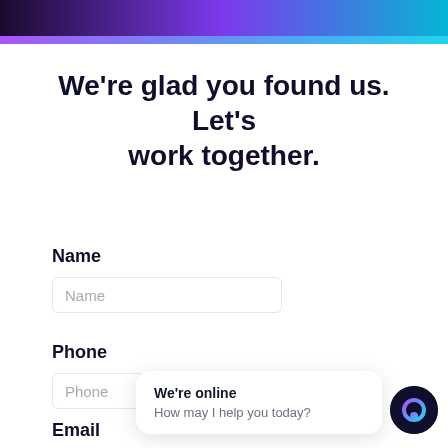We’re glad you found us. Let’s work together.
Name
Name
Phone
Phone
Email
We're online
How may I help you today?